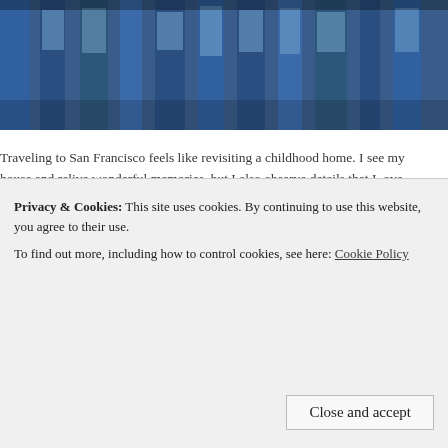[Figure (photo): Partial view of a building exterior with blue architectural elements, top of page cropped]
Traveling to San Francisco feels like revisiting a childhood home. I see my house and relive wonderful memories, but I also observe details that I ove parents brought me to San Francisco five years ago, and from the momen Street, I felt the city's dynamic and creative energy. I immediately fell in l charming architecture, eclectic shops and art galleries, and the incredible
This past weekend, my family and I returned to our usual spots while also areas such as Pacific Heights and North Beach. All of our meals were outs shared a glimpse into my foodie adventures here.
[Figure (photo): Rows of baked bread loaves, partially visible at the bottom of the page]
Privacy & Cookies: This site uses cookies. By continuing to use this website, you agree to their use. To find out more, including how to control cookies, see here: Cookie Policy